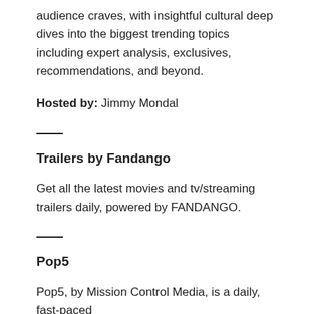audience craves, with insightful cultural deep dives into the biggest trending topics including expert analysis, exclusives, recommendations, and beyond.
Hosted by: Jimmy Mondal
Trailers by Fandango
Get all the latest movies and tv/streaming trailers daily, powered by FANDANGO.
Pop5
Pop5, by Mission Control Media, is a daily, fast-paced